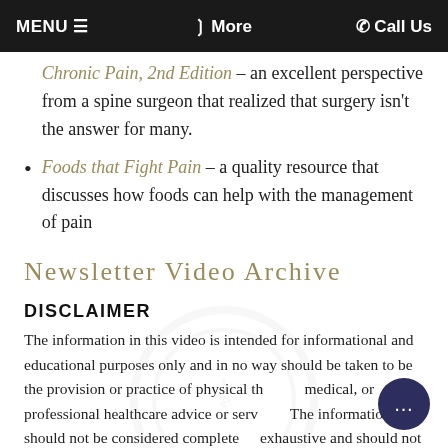MENU ≡   ❯ More   ✆ Call Us
Chronic Pain, 2nd Edition – an excellent perspective from a spine surgeon that realized that surgery isn't the answer for many.
Foods that Fight Pain – a quality resource that discusses how foods can help with the management of pain
Newsletter Video Archive
DISCLAIMER
The information in this video is intended for informational and educational purposes only and in no way should be taken to be the provision or practice of physical therapy, medical, or professional healthcare advice or services. The information should not be considered complete or exhaustive and should not be used for diagnostic or